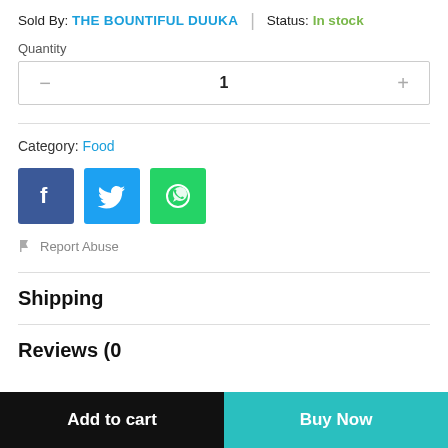Sold By: THE BOUNTIFUL DUUKA | Status: In stock
Quantity
1
Category: Food
[Figure (infographic): Social media share buttons: Facebook (blue), Twitter (light blue), WhatsApp (green)]
Report Abuse
Shipping
Reviews (0)
Add to cart
Buy Now